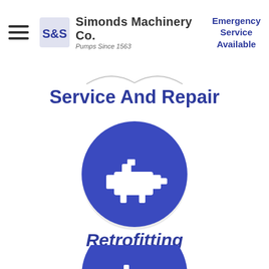Simonds Machinery Co. — Pumps Since 1563 | Emergency Service Available
Service And Repair
[Figure (illustration): Dark blue circle with white engine/machinery icon in the center, representing service and repair]
Retrofitting
[Figure (illustration): Dark blue circle (partially visible, cut off at bottom) with white machinery icon inside]